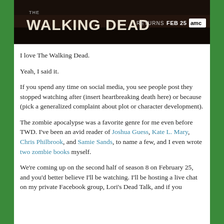[Figure (photo): The Walking Dead TV show banner advertisement showing 'RETURNS FEB 25 AMC' text on a dark dramatic background]
I love The Walking Dead.
Yeah, I said it.
If you spend any time on social media, you see people post they stopped watching after (insert heartbreaking death here) or because (pick a generalized complaint about plot or character development).
The zombie apocalypse was a favorite genre for me even before TWD. I've been an avid reader of Joshua Guess, Kate L. Mary, Chris Philbrook, and Samie Sands, to name a few, and I even wrote two zombie books myself.
We're coming up on the second half of season 8 on February 25, and you'd better believe I'll be watching. I'll be hosting a live chat on my private Facebook group, Lori's Dead Talk, and if you